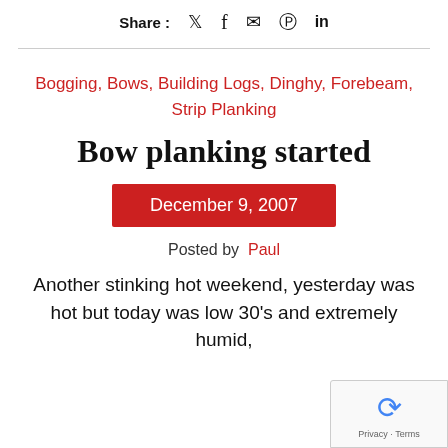Share : 🐦 f 💬 🅿 in
Bogging, Bows, Building Logs, Dinghy, Forebeam, Strip Planking
Bow planking started
December 9, 2007
Posted by Paul
Another stinking hot weekend, yesterday was hot but today was low 30's and extremely humid,